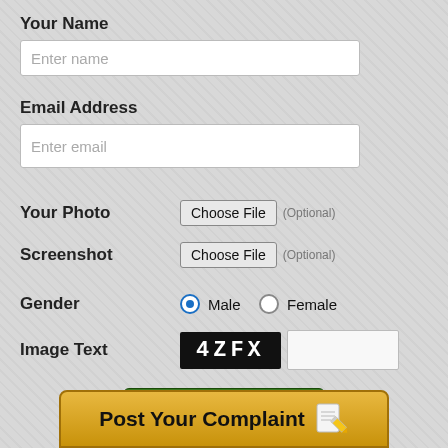Your Name
Enter name
Email Address
Enter email
Your Photo  Choose File (Optional)
Screenshot  Choose File (Optional)
Gender  Male  Female
Image Text  4ZFX
Post Complaint
Post Your Complaint